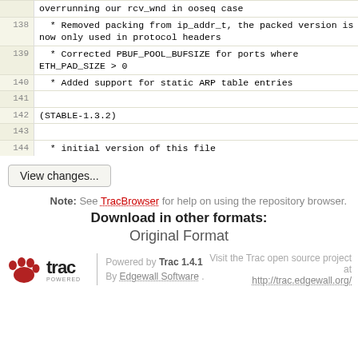| line | code |
| --- | --- |
|  | overrunning our rcv_wnd in ooseq case |
| 138 |   * Removed packing from ip_addr_t, the packed version is now only used in protocol headers |
| 139 |   * Corrected PBUF_POOL_BUFSIZE for ports where ETH_PAD_SIZE > 0 |
| 140 |   * Added support for static ARP table entries |
| 141 |  |
| 142 | (STABLE-1.3.2) |
| 143 |  |
| 144 |   * initial version of this file |
View changes...
Note: See TracBrowser for help on using the repository browser.
Download in other formats:
Original Format
Powered by Trac 1.4.1 By Edgewall Software . Visit the Trac open source project at http://trac.edgewall.org/